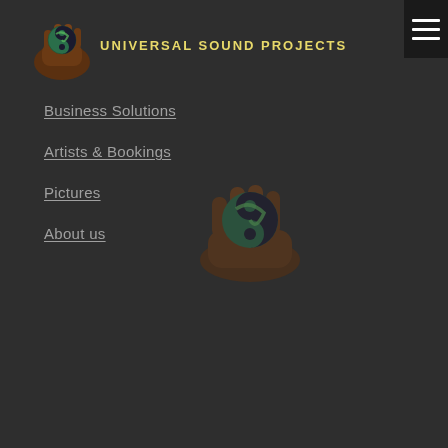[Figure (logo): Hand holding a yin-yang earth globe logo for Universal Sound Projects]
UNIVERSAL SOUND PROJECTS
[Figure (other): Hamburger menu icon (three horizontal white lines on dark background)]
Business Solutions
Artists & Bookings
Pictures
About us
[Figure (illustration): Large semi-transparent illustration of a hand holding a yin-yang earth globe, centered in the page background]